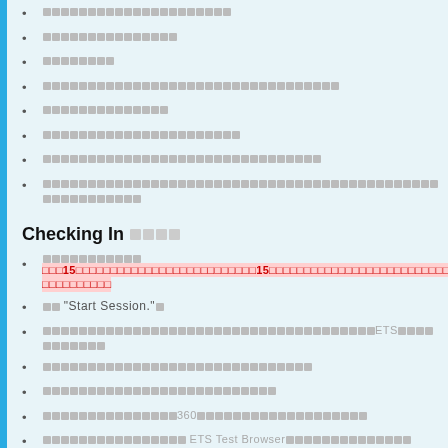□□□□□□□□□□□□□□□□□□□□□
□□□□□□□□□□□□□□□
□□□□□□□□
□□□□□□□□□□□□□□□□□□□□□□□□□□□□□□□□□
□□□□□□□□□□□□□□
□□□□□□□□□□□□□□□□□□□□□□
□□□□□□□□□□□□□□□□□□□□□□□□□□□□□□□
□□□□□□□□□□□□□□□□□□□□□□□□□□□□□□□□□□□□□□□□□□□□□□□□□□□□□□□
Checking In □□□□
□□□□□□□□□□□□□15□□□□□□□□□□□□□□□□□□□□□□15□□□□□□□□□□□□□□□□□□□□□□□□□□□□□□
□□ "Start Session."□
□□□□□□□□□□□□□□□□□□□□□□□□□□□□□□□□□□□□□ETS□□□□□□□□□□□
□□□□□□□□□□□□□□□□□□□□□□□□□□□□
□□□□□□□□□□□□□□□□□□□□□□□□□□
□□□□□□□□□□□□□□360□□□□□□□□□□□□□□□□
□□□□□□□□□□□□□□□□ ETS Test Browser□□□□□□□□□□□□□□□